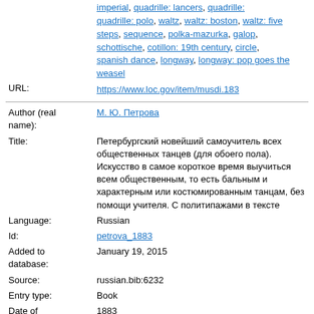|  | imperial, quadrille: lancers, quadrille: quadrille: polo, waltz, waltz: boston, waltz: five steps, sequence, polka-mazurka, galop, schottische, cotillon: 19th century, circle, spanish dance, longway, longway: pop goes the weasel |
| URL: | https://www.loc.gov/item/musdi.183 |
| Author (real name): | М. Ю. Петрова |
| Title: | Петербургский новейший самоучитель всех общественных танцев (для обоего пола). Искусство в самое короткое время выучиться всем общественным, то есть бальным и характерным или костюмированным танцам, без помощи учителя. С политипажами в тексте |
| Language: | Russian |
| Id: | petrova_1883 |
| Added to database: | January 19, 2015 |
| Source: | russian.bib:6232 |
| Entry type: | Book |
| Date of publication: | 1883 |
| Publisher: | Типо-литография дома призрения малолетних и бедных |
| Place of publication: | Санкт-Петербург |
| Edition: | 2 |